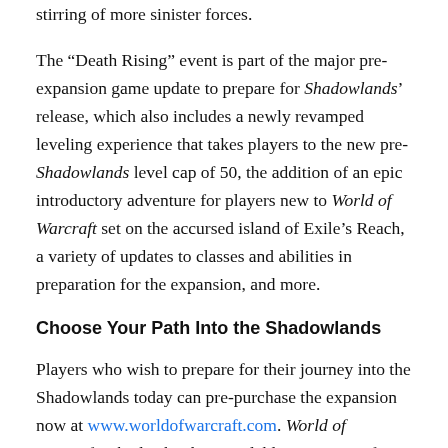stirring of more sinister forces.
The “Death Rising” event is part of the major pre-expansion game update to prepare for Shadowlands’ release, which also includes a newly revamped leveling experience that takes players to the new pre-Shadowlands level cap of 50, the addition of an epic introductory adventure for players new to World of Warcraft set on the accursed island of Exile’s Reach, a variety of updates to classes and abilities in preparation for the expansion, and more.
Choose Your Path Into the Shadowlands
Players who wish to prepare for their journey into the Shadowlands today can pre-purchase the expansion now at www.worldofwarcraft.com. World of Warcraft: Shadowlands is available in a range of editions to suit